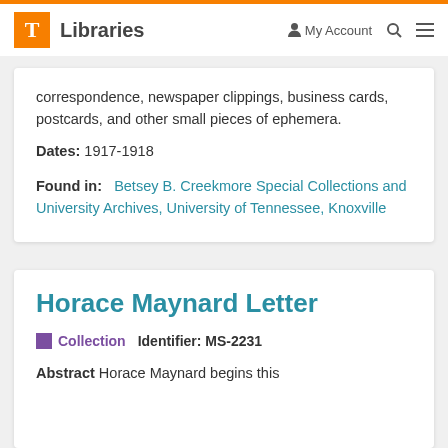T Libraries | My Account | Search | Menu
correspondence, newspaper clippings, business cards, postcards, and other small pieces of ephemera.
Dates: 1917-1918
Found in: Betsey B. Creekmore Special Collections and University Archives, University of Tennessee, Knoxville
Horace Maynard Letter
Collection   Identifier: MS-2231
Abstract Horace Maynard begins this